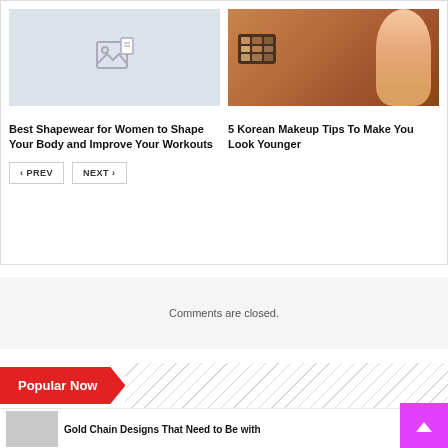[Figure (illustration): Placeholder image with mountains/photo icon on grey background]
[Figure (photo): Woman holding makeup palette, Korean beauty photo]
Best Shapewear for Women to Shape Your Body and Improve Your Workouts
5 Korean Makeup Tips To Make You Look Younger
PREV  NEXT
Comments are closed.
Popular Now
Gold Chain Designs That Need to Be with